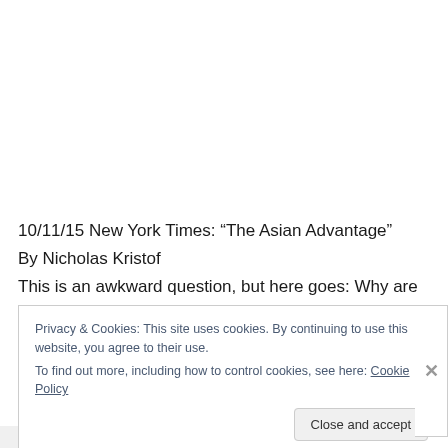10/11/15 New York Times: “The Asian Advantage”
By Nicholas Kristof
This is an awkward question, but here goes: Why are
Privacy & Cookies: This site uses cookies. By continuing to use this website, you agree to their use.
To find out more, including how to control cookies, see here: Cookie Policy
Close and accept